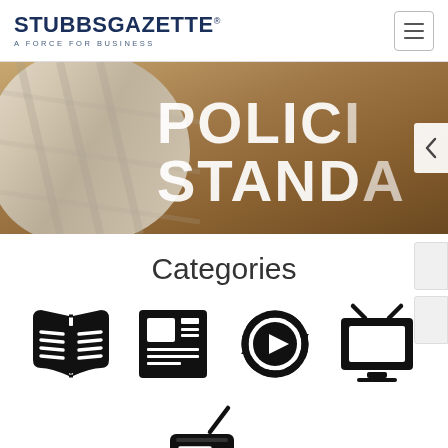[Figure (logo): Stubbs Gazette logo with text 'STUBBSGAZETTE' and tagline 'A FORCE FOR BUSINESS']
[Figure (photo): Banner image showing fabric/cloth on wooden surface with large white text 'POLICI...' and 'STANDA...' partially visible, with a left navigation arrow]
Categories
[Figure (illustration): Five category icons: open book, newspaper, video play button with circular arrow, television set, and radio/boombox]